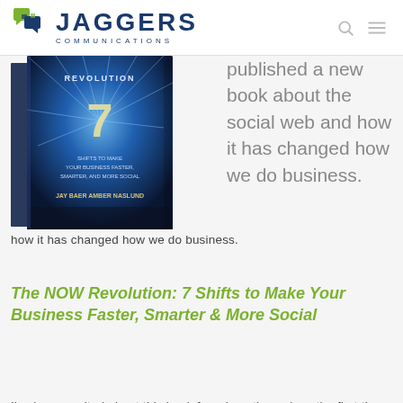JAGGERS COMMUNICATIONS
[Figure (photo): Book cover of 'The NOW Revolution: 7 Shifts to Make Your Business Faster, Smarter, and More Social' by Jay Baer and Amber Naslund, showing a blue light burst design with the number 7]
published a new book about the social web and how it has changed how we do business.
The NOW Revolution: 7 Shifts to Make Your Business Faster, Smarter & More Social
I've been excited about this book for a long time, since the first time Jay shared that it was